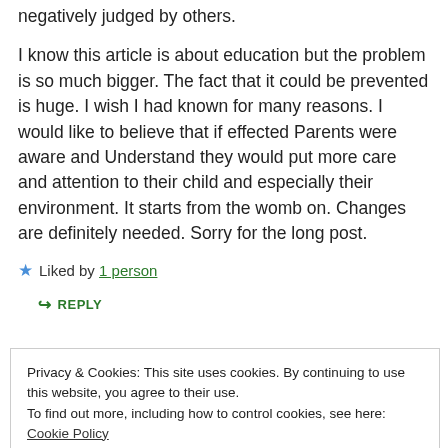negatively judged by others.
I know this article is about education but the problem is so much bigger. The fact that it could be prevented is huge. I wish I had known for many reasons. I would like to believe that if effected Parents were aware and Understand they would put more care and attention to their child and especially their environment. It starts from the womb on. Changes are definitely needed. Sorry for the long post.
★ Liked by 1 person
↳ REPLY
Privacy & Cookies: This site uses cookies. By continuing to use this website, you agree to their use.
To find out more, including how to control cookies, see here: Cookie Policy
Close and accept